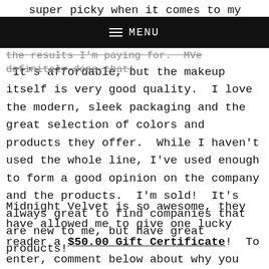super picky when it comes to my makeup.  I like a
≡ MENU
the results I'm paying for.  MVe definitely does that!  It's affordable, but the makeup itself is very good quality.  I love the modern, sleek packaging and the great selection of colors and products they offer.  While I haven't used the whole line, I've used enough to form a good opinion on the company and the products.  I'm sold!  It's always great to find companies that are new to me, but have great products!
Midnight Velvet is so awesome, they have allowed me to give one lucky reader a $50.00 Gift Certificate!  To enter, comment below about why you want to try this line and what you would like to try!  I'll pick a random